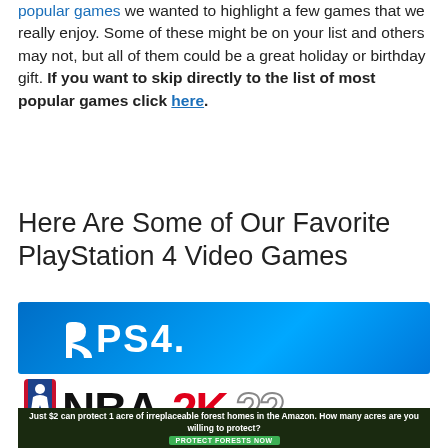popular games we wanted to highlight a few games that we really enjoy. Some of these might be on your list and others may not, but all of them could be a great holiday or birthday gift. If you want to skip directly to the list of most popular games click here.
Here Are Some of Our Favorite PlayStation 4 Video Games
[Figure (logo): PlayStation 4 (PS4) logo banner with white PS4 text on blue gradient background]
[Figure (logo): NBA 2K22 logo with black NBA text and red 2K and white outlined 22]
[Figure (photo): Amazon forest advertisement banner: Just $2 can protect 1 acre of irreplaceable forest homes in the Amazon. How many acres are you willing to protect? PROTECT FORESTS NOW button]